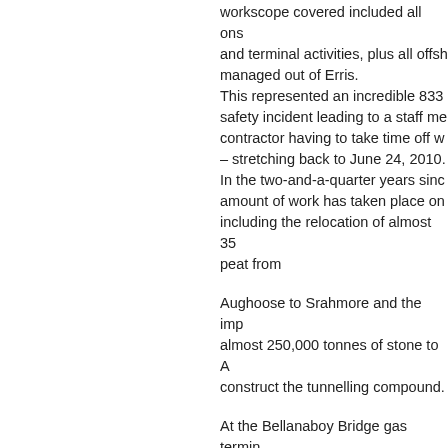workscope covered included all ons and terminal activities, plus all offsh managed out of Erris. This represented an incredible 833 safety incident leading to a staff me contractor having to take time off w – stretching back to June 24, 2010. In the two-and-a-quarter years sinc amount of work has taken place on including the relocation of almost 35 peat from
Aughoose to Srahmore and the imp almost 250,000 tonnes of stone to A construct the tunnelling compound.
At the Bellanaboy Bridge gas termin work was substantively completed d and an extensive maintenance prog been under way there for over a yea